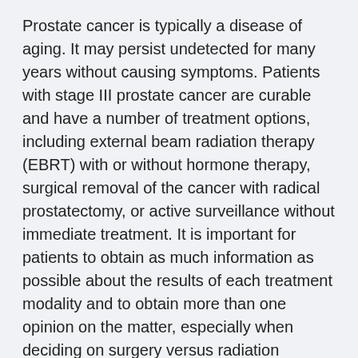Prostate cancer is typically a disease of aging. It may persist undetected for many years without causing symptoms. Patients with stage III prostate cancer are curable and have a number of treatment options, including external beam radiation therapy (EBRT) with or without hormone therapy, surgical removal of the cancer with radical prostatectomy, or active surveillance without immediate treatment. It is important for patients to obtain as much information as possible about the results of each treatment modality and to obtain more than one opinion on the matter, especially when deciding on surgery versus radiation therapy.
Despite the prostate cancer being treated locally with radiation or surgery, over half of patients will experience recurrence of their cancer. Given the